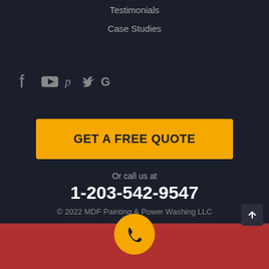Testimonials
Case Studies
[Figure (other): Social media icons: Facebook, YouTube, Pinterest, Twitter, Google]
GET A FREE QUOTE
Or call us at
1-203-542-9547
© 2022 MDF Painting & Power Washing LLC
[Figure (other): Bottom navigation bar with Service Area, phone call button, and Free Quote icons]